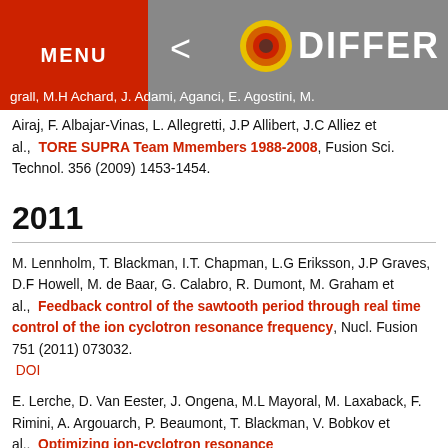MENU  <  DIFFER
grall, M.H Achard, J. Adami, Aganci, E. Agostini, M. Airaj, F. Albajar-Vinas, L. Allegretti, J.P Allibert, J.C Alliez et al.,  TORE SUPRA Team Mmembers 1988-2008, Fusion Sci. Technol. 356 (2009) 1453-1454.
2011
M. Lennholm, T. Blackman, I.T. Chapman, L.G Eriksson, J.P Graves, D.F Howell, M. de Baar, G. Calabro, R. Dumont, M. Graham et al.,  Feedback control of the sawtooth period through real time control of the ion cyclotron resonance frequency, Nucl. Fusion 751 (2011) 073032.
 DOI
E. Lerche, D. Van Eester, J. Ongena, M.L Mayoral, M. Laxaback, F. Rimini, A. Argouarch, P. Beaumont, T. Blackman, V. Bobkov et al.,  Optimizing ion-cyclotron resonance